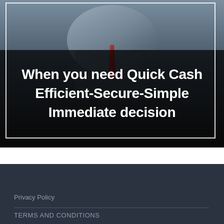[Figure (photo): Promotional financial advertisement image showing a person in a suit with a dark overlay. Bold white text reads: 'When you need Quick Cash Efficient-Secure-Simple Immediate decision']
Privacy Policy
TERMS AND CONDITIONS